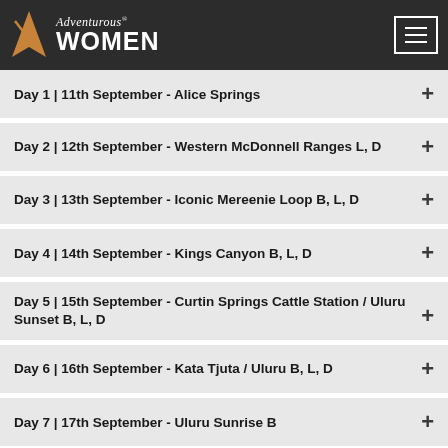Adventurous Women
Day 1 | 11th September - Alice Springs
Day 2 | 12th September - Western McDonnell Ranges L, D
Day 3 | 13th September - Iconic Mereenie Loop B, L, D
Day 4 | 14th September - Kings Canyon B, L, D
Day 5 | 15th September - Curtin Springs Cattle Station / Uluru Sunset B, L, D
Day 6 | 16th September - Kata Tjuta / Uluru B, L, D
Day 7 | 17th September - Uluru Sunrise B
REGISTER NOW